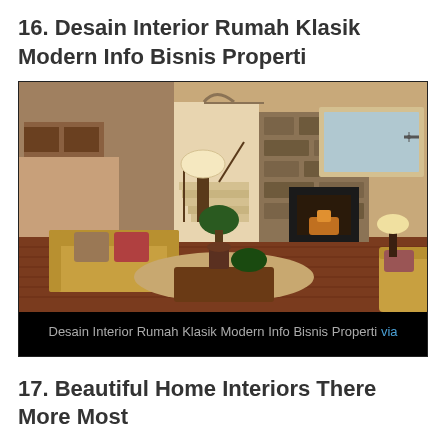16. Desain Interior Rumah Klasik Modern Info Bisnis Properti
[Figure (photo): Classic modern home interior showing a living room with tan sofa, stone fireplace, wooden staircase, decorative lamps, plants, and hardwood floors]
Desain Interior Rumah Klasik Modern Info Bisnis Properti via
17. Beautiful Home Interiors There More Most